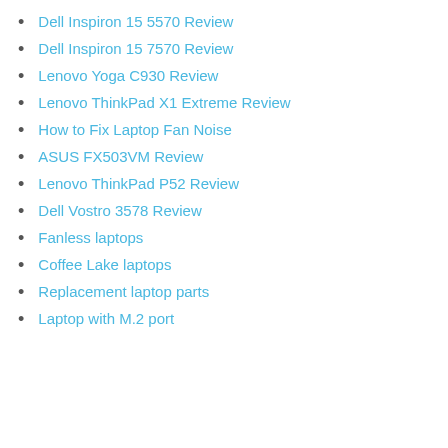Dell Inspiron 15 5570 Review
Dell Inspiron 15 7570 Review
Lenovo Yoga C930 Review
Lenovo ThinkPad X1 Extreme Review
How to Fix Laptop Fan Noise
ASUS FX503VM Review
Lenovo ThinkPad P52 Review
Dell Vostro 3578 Review
Fanless laptops
Coffee Lake laptops
Replacement laptop parts
Laptop with M.2 port